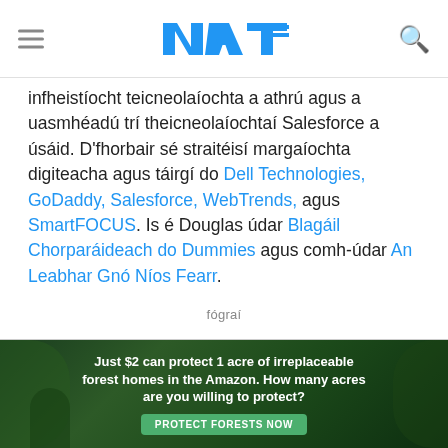NAT (logo navigation header)
infheistíocht teicneolaíochta a athrú agus a uasmhéadú trí theicneolaíochtaí Salesforce a úsáid. D'fhorbair sé straitéisí margaíochta digiteacha agus táirgí do Dell Technologies, GoDaddy, Salesforce, WebTrends, agus SmartFOCUS. Is é Douglas údar Blagáil Chorparáideach do Dummies agus comh-údar An Leabhar Gnó Níos Fearr.
fógraí
[Figure (photo): Bottom advertisement banner: forest/nature background with text 'Just $2 can protect 1 acre of irreplaceable forest homes in the Amazon. How many acres are you willing to protect?' and a green 'PROTECT FORESTS NOW' button.]